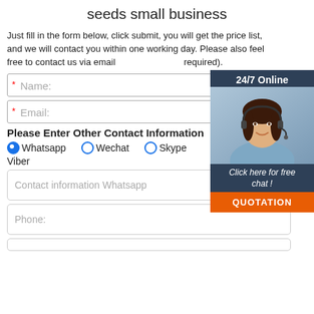seeds small business
Just fill in the form below, click submit, you will get the price list, and we will contact you within one working day. Please also feel free to contact us via email (required).
[Figure (photo): Customer service agent with headset, 24/7 Online banner, Click here for free chat text, and QUOTATION button]
* Name:
* Email:
Please Enter Other Contact Information
Whatsapp  Wechat  Skype  Viber
Contact information Whatsapp
Phone: